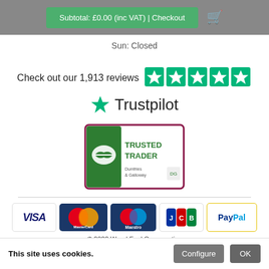Subtotal: £0.00 (inc VAT) | Checkout
Sun: Closed
Check out our 1,913 reviews ★★★★★
[Figure (logo): Trustpilot logo with green star]
[Figure (logo): Trusted Trader badge - Dumfries & Galloway]
[Figure (logo): Payment method icons: VISA, MasterCard, Maestro, JCB, PayPal]
© 2022 Wood Fuel Co-operative
Privacy Policy
This site uses cookies.